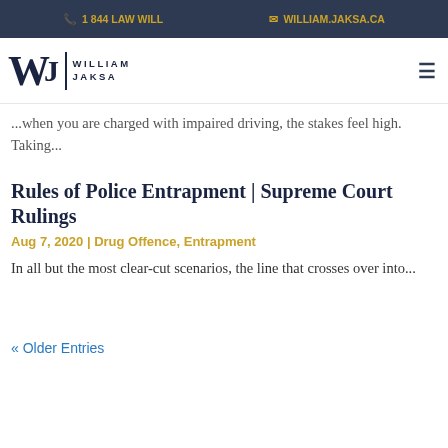1 844 LAW WILL | WILLIAM.JAKSA.CA
[Figure (logo): William Jaksa law firm logo with stylized W and J lettermark]
...when you are charged with impaired driving, the stakes feel high. Taking...
Rules of Police Entrapment | Supreme Court Rulings
Aug 7, 2020 | Drug Offence, Entrapment
In all but the most clear-cut scenarios, the line that crosses over into...
« Older Entries